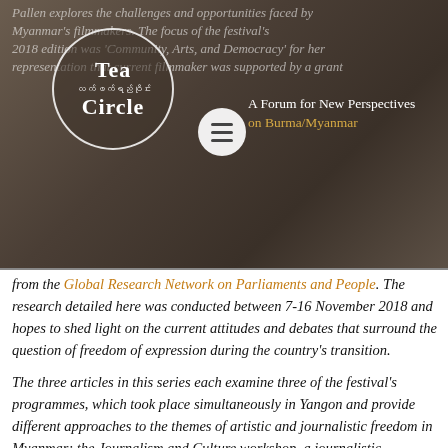[Figure (logo): Tea Circle logo — circular emblem with 'Tea / လက်ဖက်ရည်ဝိုင်း / Circle' text, and subtitle 'A Forum for New Perspectives on Burma/Myanmar']
from the Global Research Network on Parliaments and People. The research detailed here was conducted between 7-16 November 2018 and hopes to shed light on the current attitudes and debates that surround the question of freedom of expression during the country's transition.
The three articles in this series each examine three of the festival's programmes, which took place simultaneously in Yangon and provide different approaches to the themes of artistic and journalistic freedom in Myanmar: the Journalism and Culture workshop, a journalistic workshop organized in conjunction with the Myanmar Journalism Institute; the Myanmar Script Fund competition and workshop targeting young filmmakers; and a